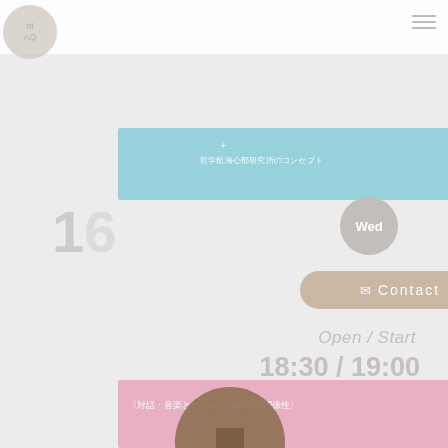[Figure (screenshot): Faded website screenshot showing a Japanese music event/live schedule page. Contains navigation bar with hamburger menu, colored banners (cyan, pink), circular day badges showing 'Wed', event dates including '16' and '31', times 'Open/Start 18:30/19:00' and 'Open/Start 18:30/19:20', artist names including 'llo1103 x', 'reversible', a Contact button, and event sections including 'ONE MAN LIVE'. A brown circle and overlaid UI elements including a Contact rounded button in tan/beige color are visible. Japanese text in pink banner reads music-related content.]